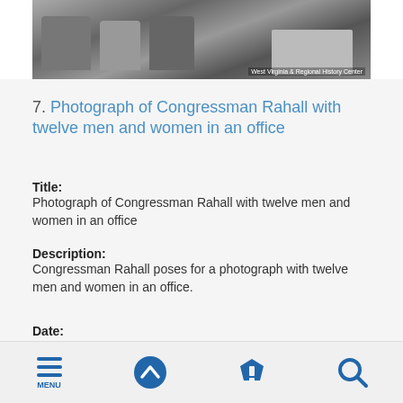[Figure (photo): Black and white photograph showing people seated in an office, with newspapers visible on a table. Watermark reads: West Virginia & Regional History Center]
7. Photograph of Congressman Rahall with twelve men and women in an office
Title:
Photograph of Congressman Rahall with twelve men and women in an office
Description:
Congressman Rahall poses for a photograph with twelve men and women in an office.
Date:
1980-02-29
[Figure (screenshot): Bottom navigation bar with icons: MENU (hamburger), up arrow circle, filter funnel, magnifying glass search]